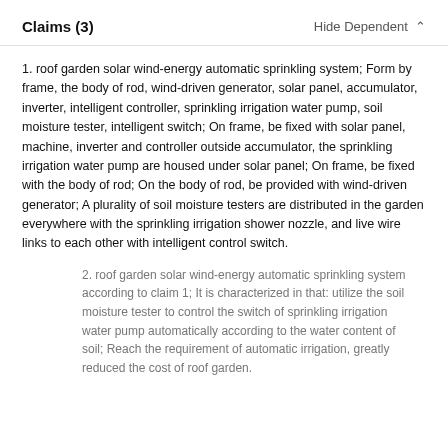Claims (3)
1. roof garden solar wind-energy automatic sprinkling system; Form by frame, the body of rod, wind-driven generator, solar panel, accumulator, inverter, intelligent controller, sprinkling irrigation water pump, soil moisture tester, intelligent switch; On frame, be fixed with solar panel, machine, inverter and controller outside accumulator, the sprinkling irrigation water pump are housed under solar panel; On frame, be fixed with the body of rod; On the body of rod, be provided with wind-driven generator; A plurality of soil moisture testers are distributed in the garden everywhere with the sprinkling irrigation shower nozzle, and live wire links to each other with intelligent control switch.
2. roof garden solar wind-energy automatic sprinkling system according to claim 1; It is characterized in that: utilize the soil moisture tester to control the switch of sprinkling irrigation water pump automatically according to the water content of soil; Reach the requirement of automatic irrigation, greatly reduced the cost of roof garden.